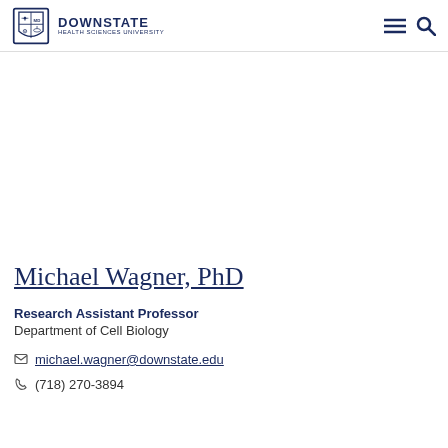DOWNSTATE HEALTH SCIENCES UNIVERSITY
[Figure (photo): Headshot photo of Michael Wagner, PhD — middle-aged man with gray-brown hair, wearing a light gray jacket, slight smile, neutral background.]
Michael Wagner, PhD
Research Assistant Professor
Department of Cell Biology
michael.wagner@downstate.edu
(718) 270-3894